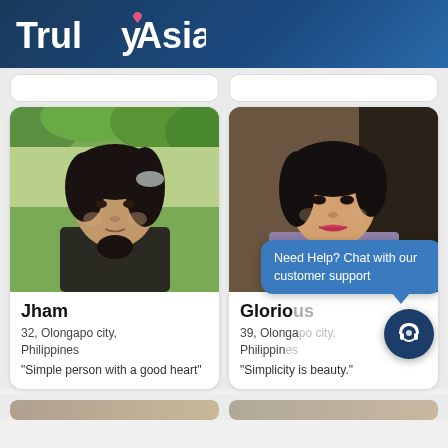TrulyAsian
[Figure (photo): Profile photo of Jham, a woman with dark hair outdoors with green foliage background]
Jham
32, Olongapo city, Philippines
"Simple person with a good heart"
[Figure (photo): Profile photo of Glorious, a woman with dark hair wearing a purple top]
Glorious
39, Olongapo city, Philippines
"Simplicity is beauty."
Need Help? Chat with our customer support